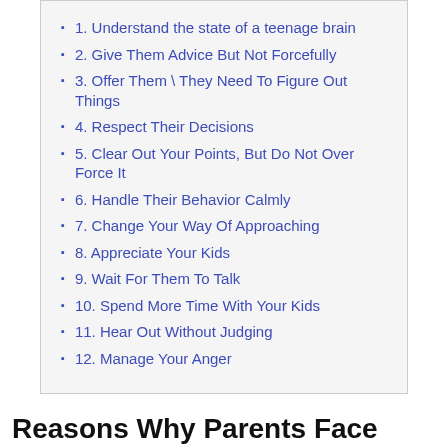1. Understand the state of a teenage brain
2. Give Them Advice But Not Forcefully
3. Offer Them \ They Need To Figure Out Things
4. Respect Their Decisions
5. Clear Out Your Points, But Do Not Over Force It
6. Handle Their Behavior Calmly
7. Change Your Way Of Approaching
8. Appreciate Your Kids
9. Wait For Them To Talk
10. Spend More Time With Your Kids
11. Hear Out Without Judging
12. Manage Your Anger
Reasons Why Parents Face Problems With Teenage
When kids present their point of view, they think of